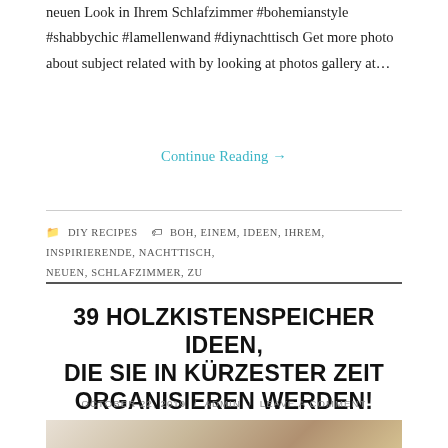neuen Look in Ihrem Schlafzimmer #bohemianstyle #shabbychic #lamellenwand #diynachttisch Get more photo about subject related with by looking at photos gallery at…
Continue Reading →
DIY RECIPES   BOH, EINEM, IDEEN, IHREM, INSPIRIERENDE, NACHTTISCH, NEUEN, SCHLAFZIMMER, ZU
39 HOLZKISTENSPEICHER IDEEN, DIE SIE IN KÜRZESTER ZEIT ORGANISIEREN WERDEN! #IK…
OCTOBER 22, 2019 / ADMIN / LEAVE A COMMENT
[Figure (photo): Photo of a person working with wooden crates/boxes, partially visible at bottom of page]